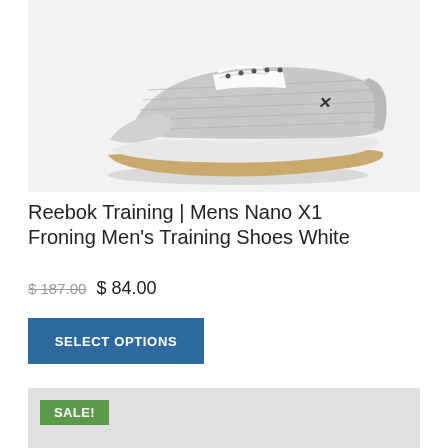[Figure (photo): Reebok Nano X1 Froning training shoe in white/grey colorway with tan rubber sole, side profile view on white background]
Reebok Training | Mens Nano X1 Froning Men's Training Shoes White
$ 187.00 $ 84.00
SELECT OPTIONS
[Figure (photo): Second product card with SALE! badge, grey background placeholder image area]